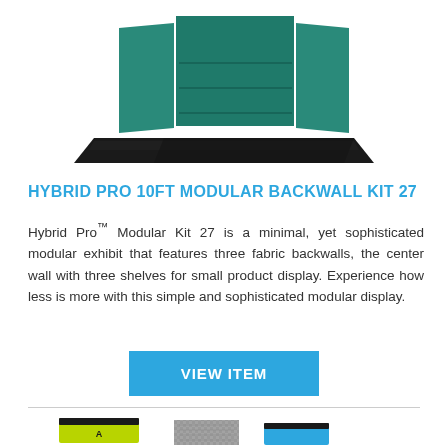[Figure (photo): Top-down perspective photo of a black modular backwall display with teal/green fabric panels and a dark reflective base]
HYBRID PRO 10FT MODULAR BACKWALL KIT 27
Hybrid Pro™ Modular Kit 27 is a minimal, yet sophisticated modular exhibit that features three fabric backwalls, the center wall with three shelves for small product display. Experience how less is more with this simple and sophisticated modular display.
VIEW ITEM
[Figure (photo): Bottom portion of page showing partial product images including green display stand with black top, a patterned panel, and another display stand]